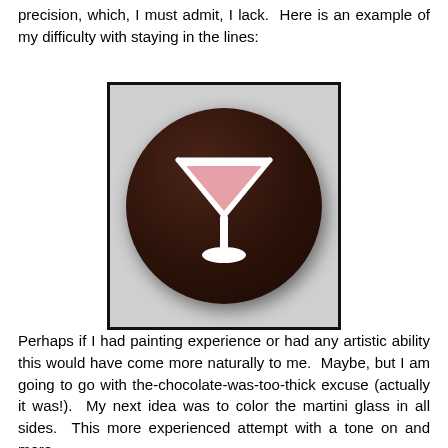precision, which, I must admit, I lack.  Here is an example of my difficulty with staying in the lines:
[Figure (photo): A round dark chocolate truffle/bonbon with a white icing martini glass design on top, with a pink/rose-colored triangle fill inside the glass outline. The chocolate is dark brown and glossy. The image has a black border and gray background.]
Perhaps if I had painting experience or had any artistic ability this would have come more naturally to me.  Maybe, but I am going to go with the-chocolate-was-too-thick excuse (actually it was!).  My next idea was to color the martini glass in all sides.  This more experienced attempt with a tone on and more